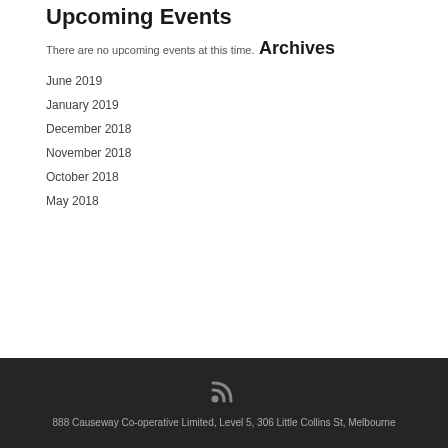Upcoming Events
There are no upcoming events at this time.
Archives
June 2019
January 2019
December 2018
November 2018
October 2018
May 2018
888 Causeway Co-operative Limited, Level 5, 306 Little Collins St, Melbourne